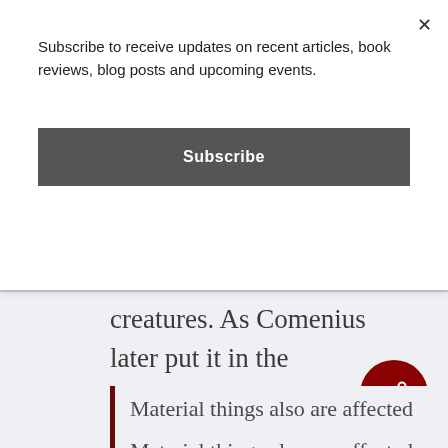Subscribe to receive updates on recent articles, book reviews, blog posts and upcoming events.
Subscribe
creatures. As Comenius later put it in the Pampaedia (II.13),
Material things also are affected by the education of all men to a rational life so that they too benefit from wise handling by wise men. Just as it is better for a garden to be